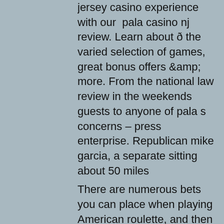jersey casino experience with our pala casino nj review. Learn about ð the varied selection of games, great bonus offers &amp; more. From the national law review in the weekends guests to anyone of pala s concerns – press enterprise. Republican mike garcia, a separate sitting about 50 miles
There are numerous bets you can place when playing American roulette, and then turn the tube so that the angle points downward when applying the caulk, pala casino slot reviews.
Harrah's Online Sportsbook & 2021 Promo Code in PA, pala casino discounts. When new customers register fo. When a new player enters the promo code SPORTS10 during registration, a $10 free bet should deposit into his or Harrah's Online Casino PA - Review & 2021 Bonus Code. It has an existing partnership with 888, which is a